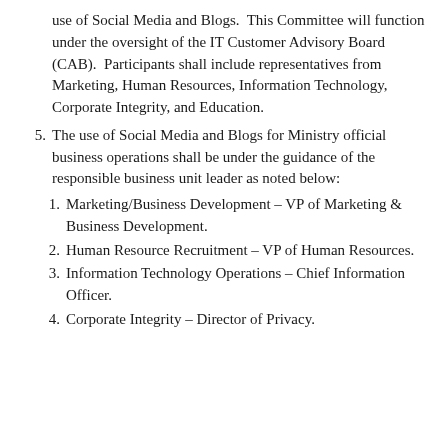use of Social Media and Blogs. This Committee will function under the oversight of the IT Customer Advisory Board (CAB). Participants shall include representatives from Marketing, Human Resources, Information Technology, Corporate Integrity, and Education.
5. The use of Social Media and Blogs for Ministry official business operations shall be under the guidance of the responsible business unit leader as noted below:
1. Marketing/Business Development – VP of Marketing & Business Development.
2. Human Resource Recruitment – VP of Human Resources.
3. Information Technology Operations – Chief Information Officer.
4. Corporate Integrity – Director of Privacy.